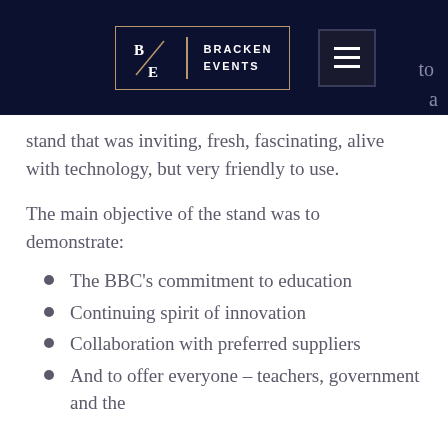[Figure (logo): Bracken Events logo with B/E monogram on dark navy header bar with menu button]
stand that was inviting, fresh, fascinating, alive with technology, but very friendly to use.
The main objective of the stand was to demonstrate:
The BBC’s commitment to education
Continuing spirit of innovation
Collaboration with preferred suppliers
And to offer everyone – teachers, government and the